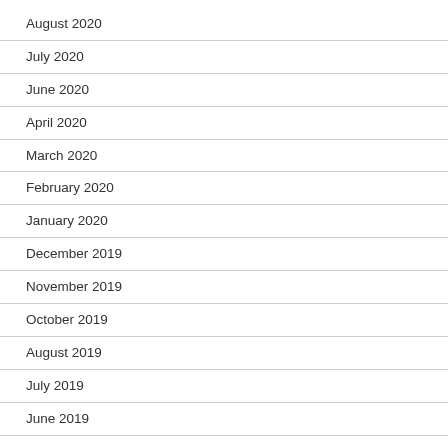August 2020
July 2020
June 2020
April 2020
March 2020
February 2020
January 2020
December 2019
November 2019
October 2019
August 2019
July 2019
June 2019